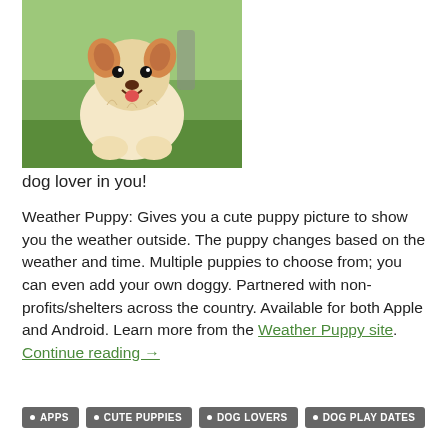[Figure (photo): A fluffy Pomeranian puppy sitting outdoors on grass, smiling with mouth open. Background shows green foliage.]
dog lover in you!
Weather Puppy: Gives you a cute puppy picture to show you the weather outside. The puppy changes based on the weather and time. Multiple puppies to choose from; you can even add your own doggy. Partnered with non-profits/shelters across the country. Available for both Apple and Android. Learn more from the Weather Puppy site.
Continue reading →
• APPS
• CUTE PUPPIES
• DOG LOVERS
• DOG PLAY DATES